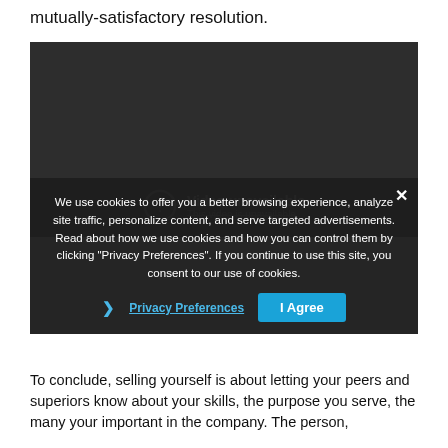mutually-satisfactory resolution.
[Figure (screenshot): Embedded video player showing 'Video unavailable' message with an exclamation icon and subtitle 'This video is unavailable' on a dark background.]
We use cookies to offer you a better browsing experience, analyze site traffic, personalize content, and serve targeted advertisements. Read about how we use cookies and how you can control them by clicking "Privacy Preferences". If you continue to use this site, you consent to our use of cookies.
Privacy Preferences   I Agree
To conclude, selling yourself is about letting your peers and superiors know about your skills, the purpose you serve, the many your important in the company. The person,